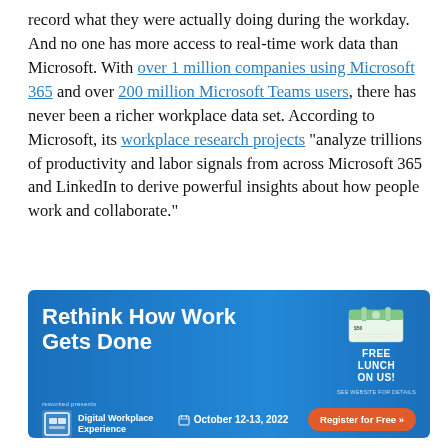record what they were actually doing during the workday. And no one has more access to real-time work data than Microsoft. With over 1 million companies using Microsoft 365 and over 200 million Microsoft Teams users, there has never been a richer workplace data set. According to Microsoft, its workplace research projects "analyze trillions of productivity and labor signals from across Microsoft 365 and LinkedIn to derive powerful insights about how people work and collaborate."
[Figure (infographic): Advertisement banner for 'Rethink How Work Gets Done' - Digital Workplace Experience event, October 12-13, 2022. Includes a free lunch offer, gift card graphic, Register for Free button, and reworked presents branding.]